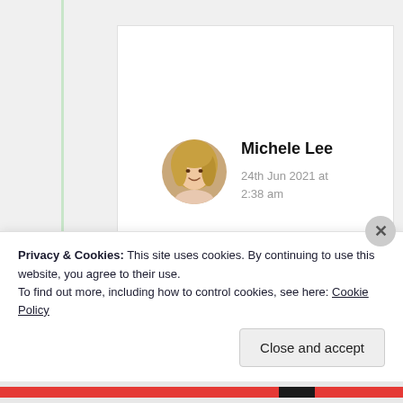[Figure (photo): Circular profile photo of a woman with curly blonde hair]
Michele Lee
24th Jun 2021 at 2:38 am
🤗
★ Like
Privacy & Cookies: This site uses cookies. By continuing to use this website, you agree to their use.
To find out more, including how to control cookies, see here: Cookie Policy
Close and accept